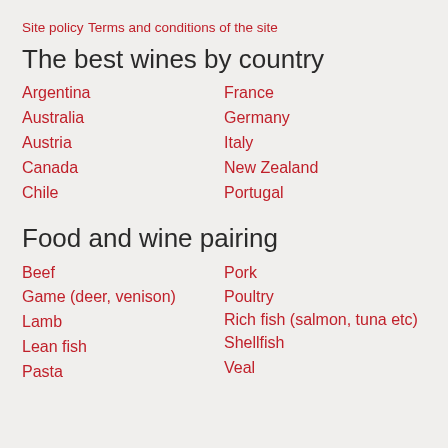Site policy
Terms and conditions of the site
The best wines by country
Argentina
Australia
Austria
Canada
Chile
France
Germany
Italy
New Zealand
Portugal
Food and wine pairing
Beef
Game (deer, venison)
Lamb
Lean fish
Pasta
Pork
Poultry
Rich fish (salmon, tuna etc)
Shellfish
Veal